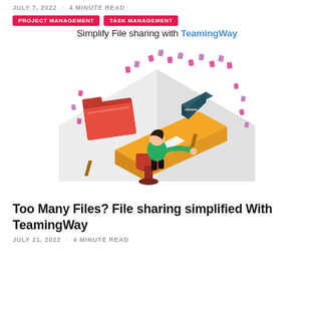JULY 7, 2022 · 4 MINUTE READ
PROJECT MANAGEMENT   TASK MANAGEMENT
Simplify File sharing with TeamingWay
[Figure (illustration): Illustration of a person sitting at a desk with a computer, surrounded by floating files and folders, with a large red open folder on the left and pink/purple file icons scattered around in an isometric room setting.]
Too Many Files? File sharing simplified With TeamingWay
JULY 21, 2022 · 4 MINUTE READ